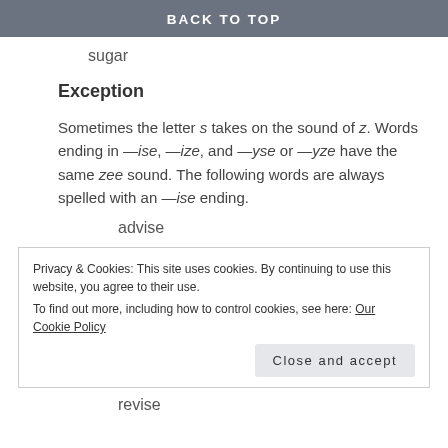BACK TO TOP
sugar
Exception
Sometimes the letter s takes on the sound of z. Words ending in —ise, —ize, and —yse or —yze have the same zee sound. The following words are always spelled with an —ise ending.
advise
Privacy & Cookies: This site uses cookies. By continuing to use this website, you agree to their use. To find out more, including how to control cookies, see here: Our Cookie Policy
revise